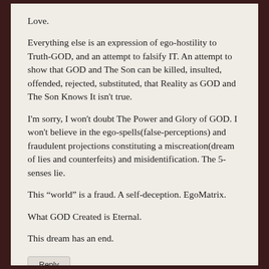Love.
Everything else is an expression of ego-hostility to Truth-GOD, and an attempt to falsify IT. An attempt to show that GOD and The Son can be killed, insulted, offended, rejected, substituted, that Reality as GOD and The Son Knows It isn't true.
I'm sorry, I won't doubt The Power and Glory of GOD. I won't believe in the ego-spells(false-perceptions) and fraudulent projections constituting a miscreation(dream of lies and counterfeits) and misidentification. The 5-senses lie.
This “world” is a fraud. A self-deception. EgoMatrix.
What GOD Created is Eternal.
This dream has an end.
Reply